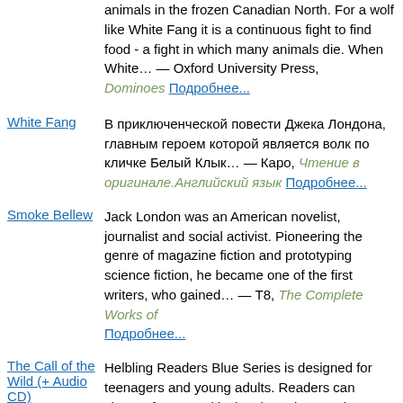animals in the frozen Canadian North. For a wolf like White Fang it is a continuous fight to find food - a fight in which many animals die. When White… — Oxford University Press, Dominoes Подробнее...
White Fang
В приключенческой повести Джека Лондона, главным героем которой является волк по кличке Белый Клык… — Каро, Чтение в оригинале.Английский язык Подробнее...
Smoke Bellew
Jack London was an American novelist, journalist and social activist. Pioneering the genre of magazine fiction and prototyping science fiction, he became one of the first writers, who gained… — Т8, The Complete Works of Подробнее...
The Call of the Wild (+ Audio CD)
Helbling Readers Blue Series is designed for teenagers and young adults. Readers can choose from sensitively adapted teen-relevant classics and a gripping selection of original fiction — Heinle/Cengage Learn, Helbling Readers